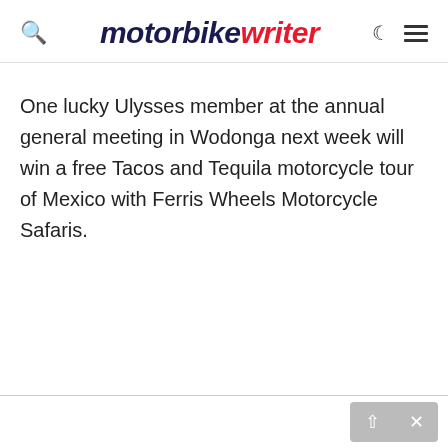motorbike writer
One lucky Ulysses member at the annual general meeting in Wodonga next week will win a free Tacos and Tequila motorcycle tour of Mexico with Ferris Wheels Motorcycle Safaris.